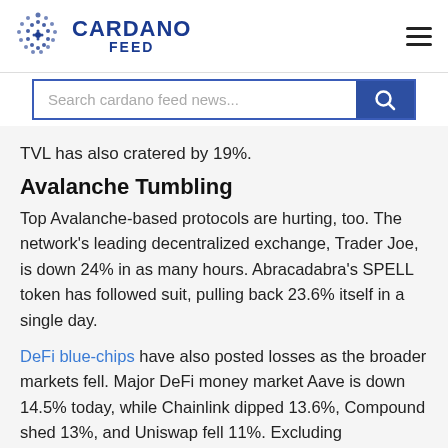CARDANO FEED
TVL has also cratered by 19%.
Avalanche Tumbling
Top Avalanche-based protocols are hurting, too. The network's leading decentralized exchange, Trader Joe, is down 24% in as many hours. Abracadabra's SPELL token has followed suit, pulling back 23.6% itself in a single day.
DeFi blue-chips have also posted losses as the broader markets fell. Major DeFi money market Aave is down 14.5% today, while Chainlink dipped 13.6%, Compound shed 13%, and Uniswap fell 11%. Excluding stablecoins, no DeFi assets among the top 100 have posted a 24-hour gain.